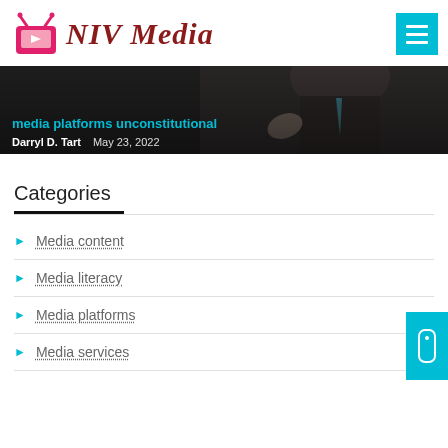NIV Media
[Figure (screenshot): Hero image banner showing a man in a suit gesturing, with overlaid text 'media platforms unconstitutional' by Darryl D. Tart, May 23, 2022]
media platforms unconstitutional
Darryl D. Tart   May 23, 2022
Categories
Media content
Media literacy
Media platforms
Media services